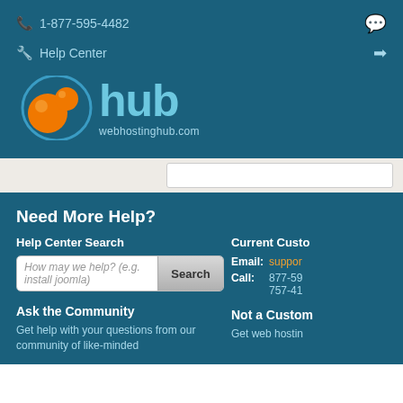📞 1-877-595-4482
Help Center
[Figure (logo): Web Hosting Hub logo with orange orbs and 'hub' text in light blue, webhostinghub.com below]
Need More Help?
Help Center Search
How may we help? (e.g. install joomla)
Current Customers
Email: support
Call: 877-59...
757-41...
Ask the Community
Get help with your questions from our community of like-minded
Not a Customer
Get web hostin